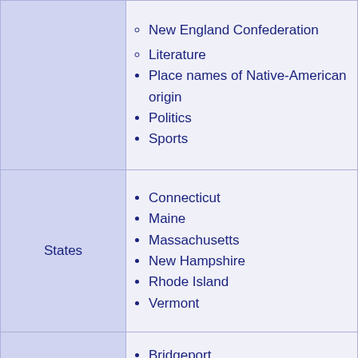New England Confederation
Literature
Place names of Native-American origin
Politics
Sports
States
Connecticut
Maine
Massachusetts
New Hampshire
Rhode Island
Vermont
Bridgeport
Burlington
Cambridge
Lowell